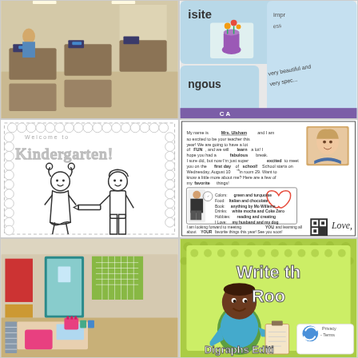[Figure (photo): Elementary classroom photo showing student desks arranged in rows with chairs, blue accent items on desks, bright classroom setting]
[Figure (photo): Vocabulary/word cards educational material showing words like 'isite', 'ngous' with a purple vase illustration, light blue card borders, text 'very beautiful and very spec...']
[Figure (illustration): Kindergarten welcome coloring page with dotted-line traced text 'Welcome to Kindergarteni' and cartoon drawings of two children holding a pencil, decorative scallop border]
[Figure (photo): Teacher introduction letter from Mrs. Ulsham with photo of smiling blonde teacher, listing favorite things: Colors green and turquoise, Food Italian and chocolate, Book anything by Mo Willems, Drinks white mocha and Coke Zero, Hobbies reading and creating, I Love my husband and my dog. Ends with Love, QR code]
[Figure (photo): Elementary classroom photo showing a colorful classroom with teal door, decorated walls with red and yellow bulletin boards, teacher desk area with pink chair, calendar wall display]
[Figure (illustration): Educational product cover 'Write the Room - Digraphs Edition' with green polka dot border, cartoon illustration of a dark-skinned child in teal shirt holding a clipboard, with a reCAPTCHA privacy widget overlay in bottom right corner]